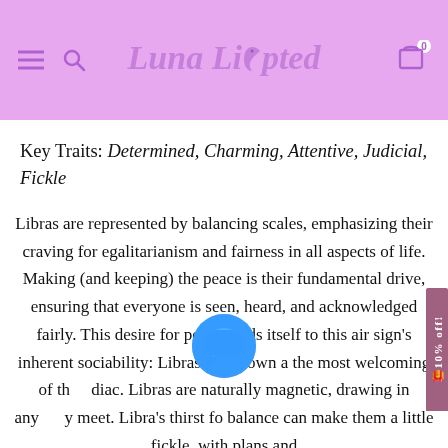Luna Lipted
Key Traits: Determined, Charming, Attentive, Judicial, Fickle
Libras are represented by balancing scales, emphasizing their craving for egalitarianism and fairness in all aspects of life. Making (and keeping) the peace is their fundamental drive, ensuring that everyone is seen, heard, and acknowledged fairly. This desire for peace lends itself to this air sign's inherent sociability: Libras are known a the most welcoming of th diac. Libras are naturally magnetic, drawing in any y meet. Libra's thirst fo balance can make them a little fickle, with plans and